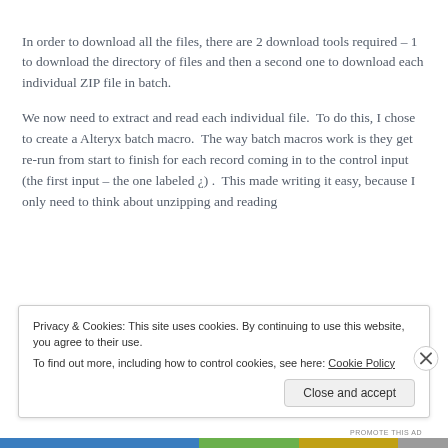In order to download all the files, there are 2 download tools required – 1 to download the directory of files and then a second one to download each individual ZIP file in batch.
We now need to extract and read each individual file.  To do this, I chose to create a Alteryx batch macro.  The way batch macros work is they get re-run from start to finish for each record coming in to the control input (the first input – the one labeled ¿) .  This made writing it easy, because I only need to think about unzipping and reading 1 file at a time. Alteryx figures out the batch of batch.
Privacy & Cookies: This site uses cookies. By continuing to use this website, you agree to their use.
To find out more, including how to control cookies, see here: Cookie Policy